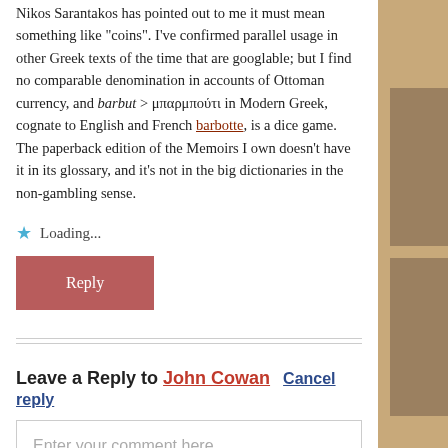Nikos Sarantakos has pointed out to me it must mean something like "coins". I've confirmed parallel usage in other Greek texts of the time that are googlable; but I find no comparable denomination in accounts of Ottoman currency, and barbut > μπαρμπούτι in Modern Greek, cognate to English and French barbotte, is a dice game. The paperback edition of the Memoirs I own doesn't have it in its glossary, and it's not in the big dictionaries in the non-gambling sense.
★ Loading...
Reply
Leave a Reply to John Cowan Cancel reply
Enter your comment here...